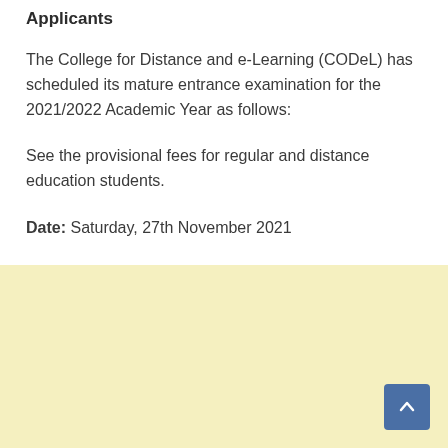Applicants
The College for Distance and e-Learning (CODeL) has scheduled its mature entrance examination for the 2021/2022 Academic Year as follows:
See the provisional fees for regular and distance education students.
Date: Saturday, 27th November 2021